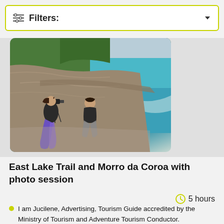Filters:
[Figure (photo): Two women sitting on a rocky cliff ledge overlooking a turquoise coastal beach with green hills and ocean in the background. One woman is photographing with a camera on a tripod, the other is seated looking at the view.]
East Lake Trail and Morro da Coroa with photo session
5 hours
I am Jucilene, Advertising, Tourism Guide accredited by the Ministry of Tourism and Adventure Tourism Conductor. I love being in touch with nature and exploring new places.
We will have a unique experience until the charming Lagoinha do Leste beach.
We will walk and discover the most beautiful and